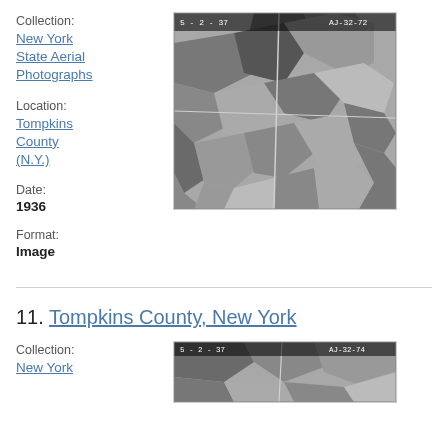Collection:
New York State Aerial Photographs
Location:
Tompkins County (N.Y.)
Date:
1936
Format:
Image
[Figure (photo): Aerial photograph of Tompkins County, New York, labeled 5-2-37 and AJ-32-72, black and white, showing rural landscape with fields and roads.]
11. Tompkins County, New York
Collection:
New York
[Figure (photo): Aerial photograph of Tompkins County, New York, labeled 5-2-37 and AJ-32-74, black and white, showing rural landscape.]